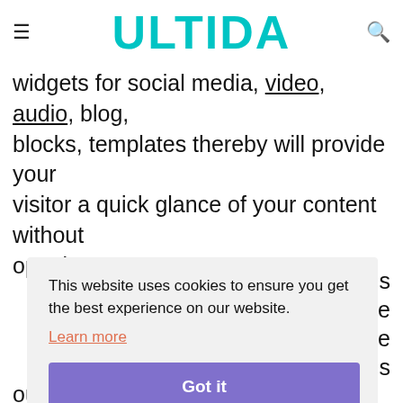ULTIDA
widgets for social media, video, audio, blog, blocks, templates thereby will provide your visitor a quick glance of your content without opening an app.
This website uses cookies to ensure you get the best experience on our website. Learn more Got it
ands
out from others.